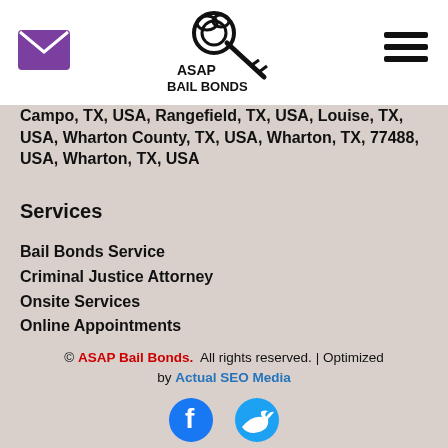[Figure (logo): ASAP Bail Bonds logo with key graphic and text]
[Figure (other): Purple envelope/mail icon]
[Figure (other): Hamburger menu icon (three horizontal lines)]
Campo, TX, USA, Rangefield, TX, USA, Louise, TX, USA, Wharton County, TX, USA, Wharton, TX, 77488, USA, Wharton, TX, USA
Services
Bail Bonds Service
Criminal Justice Attorney
Onsite Services
Online Appointments
© ASAP Bail Bonds.  All rights reserved. | Optimized by Actual SEO Media
[Figure (other): Facebook and Twitter social media icons]